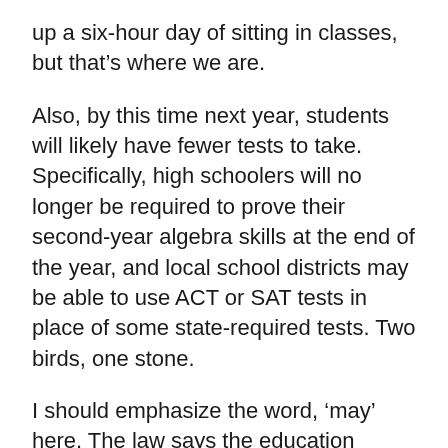up a six-hour day of sitting in classes, but that’s where we are.
Also, by this time next year, students will likely have fewer tests to take. Specifically, high schoolers will no longer be required to prove their second-year algebra skills at the end of the year, and local school districts may be able to use ACT or SAT tests in place of some state-required tests. Two birds, one stone.
I should emphasize the word, ‘may’ here. The law says the education department has to investigate the possibility of using a national college entrance exam before just doing it, but most education experts are already pretty comfortable with that idea–and the federal government has encouraged it–so there’s a good shot that’s how it’ll play out once the study is complete.
Tests are important, of course, because they